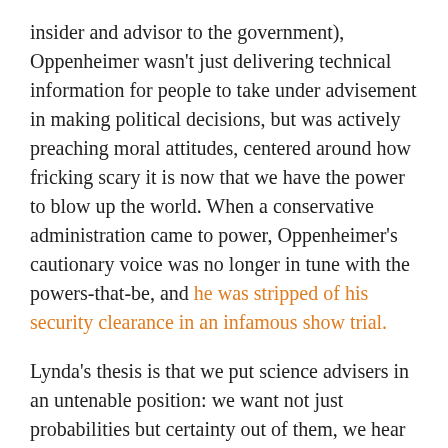insider and advisor to the government), Oppenheimer wasn't just delivering technical information for people to take under advisement in making political decisions, but was actively preaching moral attitudes, centered around how fricking scary it is now that we have the power to blow up the world. When a conservative administration came to power, Oppenheimer's cautionary voice was no longer in tune with the powers-that-be, and he was stripped of his security clearance in an infamous show trial.
Lynda's thesis is that we put science advisers in an untenable position: we want not just probabilities but certainty out of them, we hear them as making recommendations for action even if that's not what they intend, yet we slam them down if they tell them what we don't want to hear. We say "you just give us the facts, and we'll make the decisions," even though such "facts" are